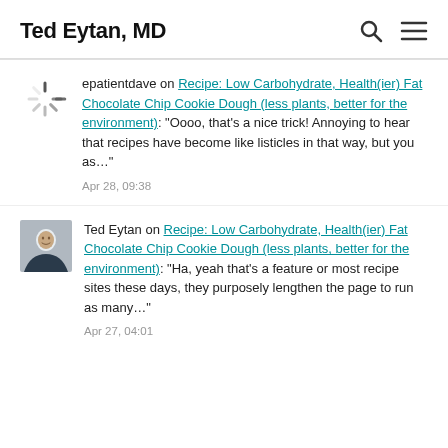Ted Eytan, MD
epatientdave on Recipe: Low Carbohydrate, Health(ier) Fat Chocolate Chip Cookie Dough (less plants, better for the environment): “Oooo, that’s a nice trick! Annoying to hear that recipes have become like listicles in that way, but you as…”
Apr 28, 09:38
Ted Eytan on Recipe: Low Carbohydrate, Health(ier) Fat Chocolate Chip Cookie Dough (less plants, better for the environment): “Ha, yeah that’s a feature or most recipe sites these days, they purposely lengthen the page to run as many…”
Apr 27, 04:01